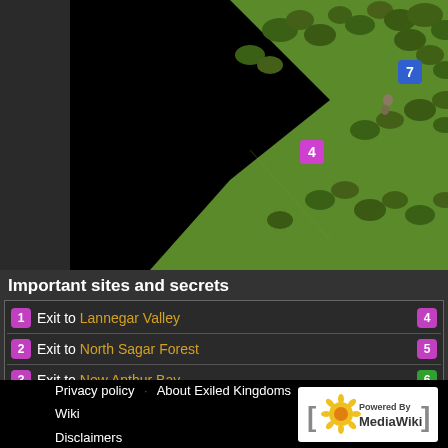[Figure (screenshot): Isometric game map showing green terrain with trees, black void area, and numbered markers: marker 4 (pink/magenta) and marker 7 (blue) visible on the map]
Important sites and secrets
1 Exit to Lannegar Valley  4
2 Exit to North Sagar Forest  5
3 Exit to New Anthur Bay  6
Important NPCs and enemies
7 Deep-Shadow initiating quest I Am the Best Hunter in the World...  8
Category:  Areas:Maps
Privacy policy    About Exiled Kingdoms Wiki    Disclaimers